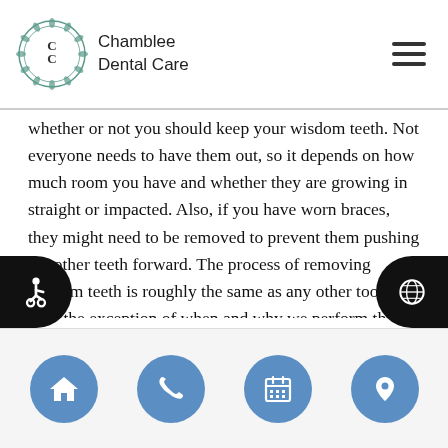Chamblee Dental Care
whether or not you should keep your wisdom teeth. Not everyone needs to have them out, so it depends on how much room you have and whether they are growing in straight or impacted. Also, if you have worn braces, they might need to be removed to prevent them pushing the other teeth forward. The process of removing wisdom teeth is roughly the same as any other tooth with the exception of when and why we perform the procedure. At Chamblee Dental Care, we typically recommend wisdom teeth removal in the teenage years. General extractions are more common as people age and have a tooth that needs to be removed due to a severe infection or significant
Navigation bar with home, phone, calendar, and location icons